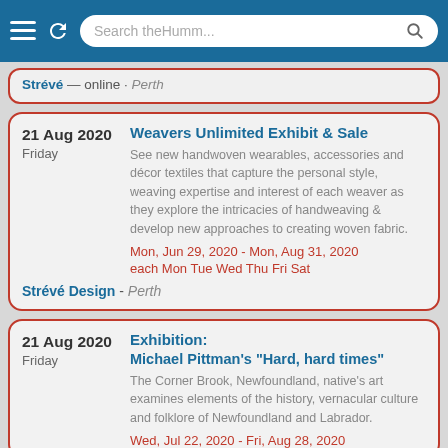Search theHumm...
21 Aug 2020 Friday - Weavers Unlimited Exhibit & Sale. See new handwoven wearables, accessories and décor textiles that capture the personal style, weaving expertise and interest of each weaver as they explore the intricacies of handweaving & develop new approaches to creating woven fabric. Mon, Jun 29, 2020 - Mon, Aug 31, 2020. each Mon Tue Wed Thu Fri Sat. Strévé Design - Perth
21 Aug 2020 Friday - Exhibition: Michael Pittman's "Hard, hard times". The Corner Brook, Newfoundland, native's art examines elements of the history, vernacular culture and folklore of Newfoundland and Labrador. Wed, Jul 22, 2020 - Fri, Aug 28, 2020. each Wed Thu Fri Sat